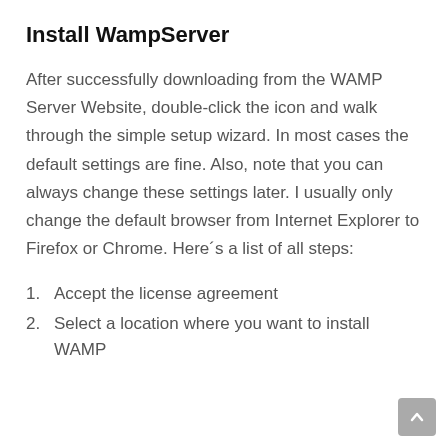Install WampServer
After successfully downloading from the WAMP Server Website, double-click the icon and walk through the simple setup wizard. In most cases the default settings are fine. Also, note that you can always change these settings later. I usually only change the default browser from Internet Explorer to Firefox or Chrome. Here´s a list of all steps:
1. Accept the license agreement
2. Select a location where you want to install WAMP